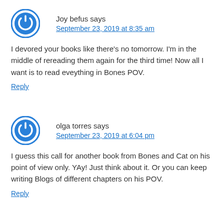Joy befus says
September 23, 2019 at 8:35 am
I devored your books like there’s no tomorrow. I’m in the middle of rereading them again for the third time! Now all I want is to read eveything in Bones POV.
Reply
olga torres says
September 23, 2019 at 6:04 pm
I guess this call for another book from Bones and Cat on his point of view only. YAy! Just think about it. Or you can keep writing Blogs of different chapters on his POV.
Reply